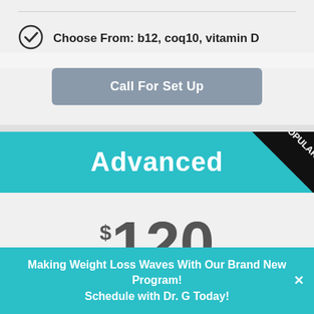Choose From: b12, coq10, vitamin D
Call For Set Up
Advanced
$120 Monthly
Making Weight Loss Waves With Our Brand New Program! Schedule with Dr. G Today!